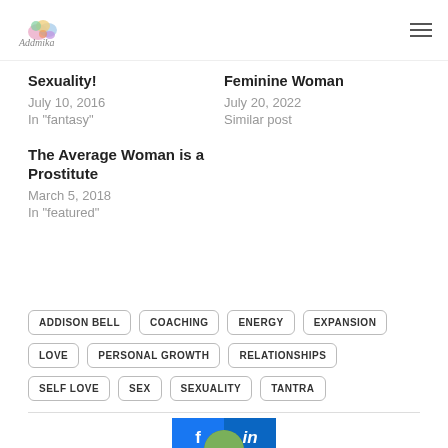Addmika logo and hamburger menu
Sexuality!
July 10, 2016
In "fantasy"
Feminine Woman
July 20, 2022
Similar post
The Average Woman is a Prostitute
March 5, 2018
In "featured"
ADDISON BELL | COACHING | ENERGY | EXPANSION
LOVE | PERSONAL GROWTH | RELATIONSHIPS
SELF LOVE | SEX | SEXUALITY | TANTRA
[Figure (infographic): Facebook and LinkedIn social share buttons]
[Figure (photo): Circular avatar photo of a person, partially visible at bottom of page]